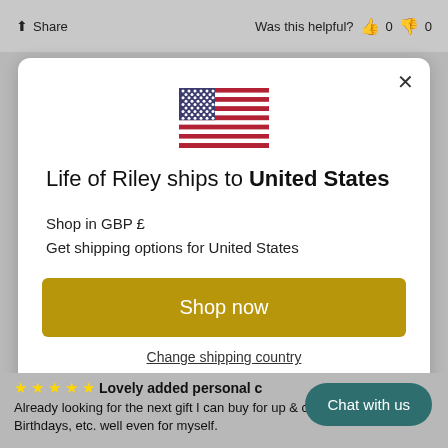Share
Was this helpful? 0 0
[Figure (screenshot): Modal dialog showing US flag, text 'Life of Riley ships to United States', Shop in GBP £, Get shipping options for United States, Shop now button, Change shipping country link]
Life of Riley ships to United States
Shop in GBP £
Get shipping options for United States
Shop now
Change shipping country
Lovely added personal
Already looking for the next gift I can buy for up & coming Birthdays, etc. well even for myself.
Chat with us